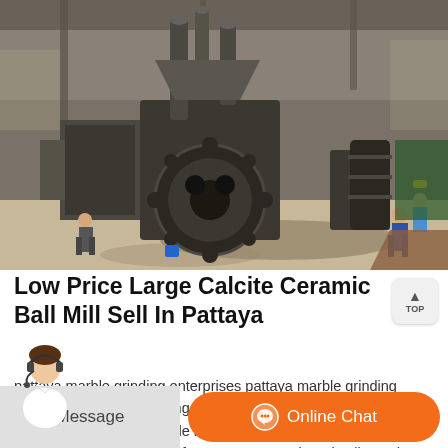[Figure (photo): Industrial warehouse interior showing large heavy machinery including ball mill equipment, gears and mechanical components, with workers visible in background]
Low Price Large Calcite Ceramic Ball Mill Sell In Pattaya
pattaya marble grinding enterprises pattaya marble grinding enterprises marble grinding parts new machine pattaya marble grinding enterprises marble mill equipment production ball mill marble stone japan made from You can get the price list and a mith representative will contact you within one business day.
[Figure (other): Customer service chat interface bottom bar with Message button and Online Chat button with orange background, plus customer service representative avatar]